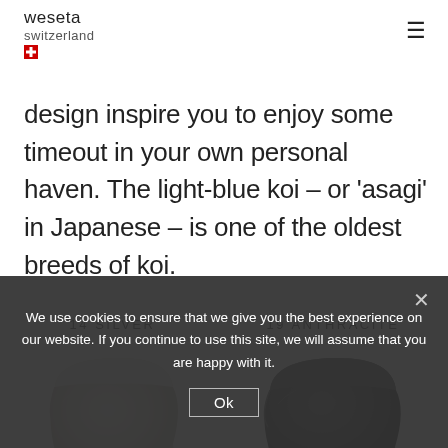weseta switzerland
design inspire you to enjoy some timeout in your own personal haven. The light-blue koi – or ‘asagi’ in Japanese – is one of the oldest breeds of koi.
[Figure (photo): Folded light silver/cream colored textile/towel product]
14 SILVER
[Figure (photo): Folded dark anthracite colored textile/towel product]
19 ANTHRACITE
We use cookies to ensure that we give you the best experience on our website. If you continue to use this site, we will assume that you are happy with it.